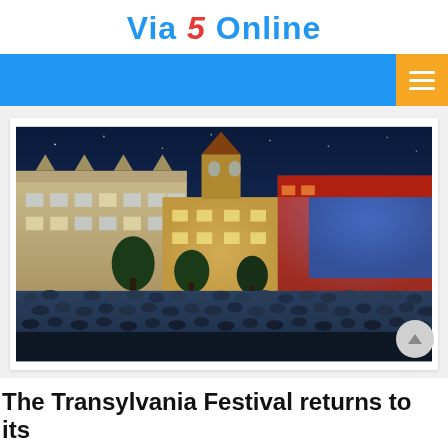Via 5 Online
[Figure (photo): Nighttime outdoor festival scene in a town square in Transylvania, with illuminated historical buildings, colorful stage lighting, and a large crowd of attendees.]
The Transylvania Festival returns to its